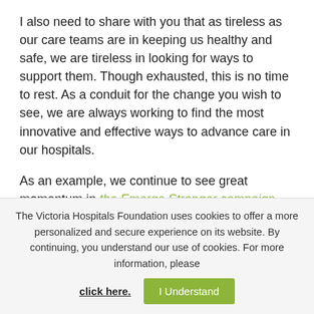I also need to share with you that as tireless as our care teams are in keeping us healthy and safe, we are tireless in looking for ways to support them. Though exhausted, this is no time to rest. As a conduit for the change you wish to see, we are always working to find the most innovative and effective ways to advance care in our hospitals.
As an example, we continue to see great momentum in the Emerge Stronger campaign, our largest and most diverse fundraising initiative. Just three months after launching, over 2,250 of you have helped us
The Victoria Hospitals Foundation uses cookies to offer a more personalized and secure experience on its website. By continuing, you understand our use of cookies. For more information, please click here.